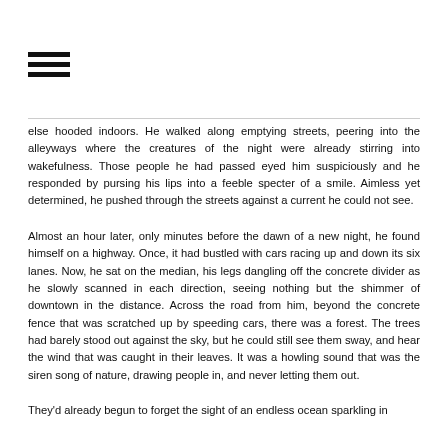[Figure (other): Hamburger menu icon with three horizontal lines]
else hooded indoors. He walked along emptying streets, peering into the alleyways where the creatures of the night were already stirring into wakefulness. Those people he had passed eyed him suspiciously and he responded by pursing his lips into a feeble specter of a smile. Aimless yet determined, he pushed through the streets against a current he could not see.
Almost an hour later, only minutes before the dawn of a new night, he found himself on a highway. Once, it had bustled with cars racing up and down its six lanes. Now, he sat on the median, his legs dangling off the concrete divider as he slowly scanned in each direction, seeing nothing but the shimmer of downtown in the distance. Across the road from him, beyond the concrete fence that was scratched up by speeding cars, there was a forest. The trees had barely stood out against the sky, but he could still see them sway, and hear the wind that was caught in their leaves. It was a howling sound that was the siren song of nature, drawing people in, and never letting them out.
They'd already begun to forget the sight of an endless ocean sparkling in